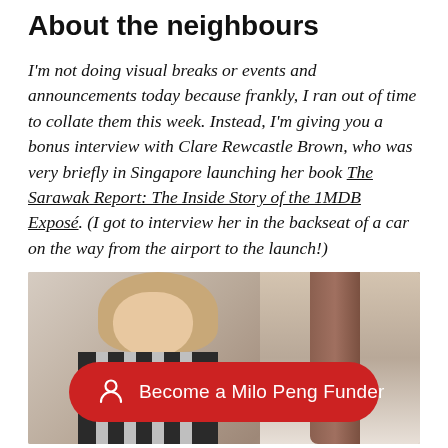About the neighbours
I'm not doing visual breaks or events and announcements today because frankly, I ran out of time to collate them this week. Instead, I'm giving you a bonus interview with Clare Rewcastle Brown, who was very briefly in Singapore launching her book The Sarawak Report: The Inside Story of the 1MDB Exposé. (I got to interview her in the backseat of a car on the way from the airport to the launch!)
[Figure (photo): A woman with long blonde hair wearing a black and white striped top, photographed indoors with a brown curtain/door visible in the background. A red rounded-rectangle button overlay reads 'Become a Milo Peng Funder' with a person/user icon.]